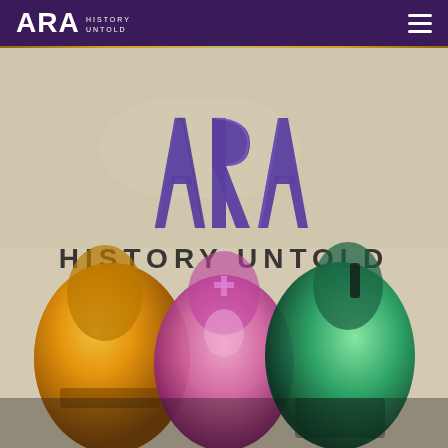ARA HISTORY UNTOLD
[Figure (logo): ARA History Untold logo in white on purple background header bar]
[Figure (illustration): ARA History Untold game cover art showing large purple stylized ARA letters and HISTORY UNTOLD text below, with three character silhouettes filled with colorful scenic imagery: a golden/desert figure on left, a pink/Byzantine empress figure in center, and a green/Roman soldier figure on right, all on a parchment-textured background]